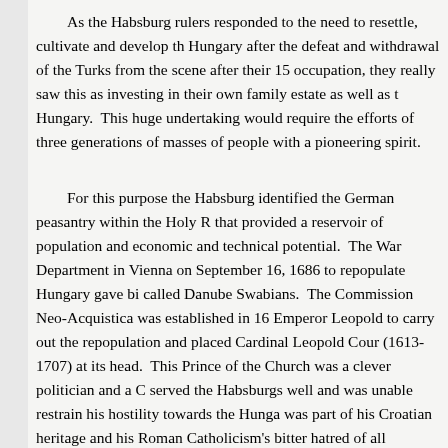As the Habsburg rulers responded to the need to resettle, cultivate and develop the Hungary after the defeat and withdrawal of the Turks from the scene after their 150 year occupation, they really saw this as investing in their own family estate as well as the Hungary.  This huge undertaking would require the efforts of three generations of masses of people with a pioneering spirit.
For this purpose the Habsburg identified the German peasantry within the Holy Roman Empire that provided a reservoir of population and economic and technical potential.  The decree of the War Department in Vienna on September 16, 1686 to repopulate Hungary gave birth to people called Danube Swabians.  The Commission Neo-Acquistica was established in 1689 by Emperor Leopold to carry out the repopulation and placed Cardinal Leopold Count Kollonich (1613-1707) at its head.  This Prince of the Church was a clever politician and a Croatian who served the Habsburgs well and was unable restrain his hostility towards the Hungarians which was part of his Croatian heritage and his Roman Catholicism's bitter hatred of all Hungarian Protestantism.
The Commission had to have an overview of the whole operation.  Not only did it settle colonists in the wilderness and devastated land but to determine what lands...